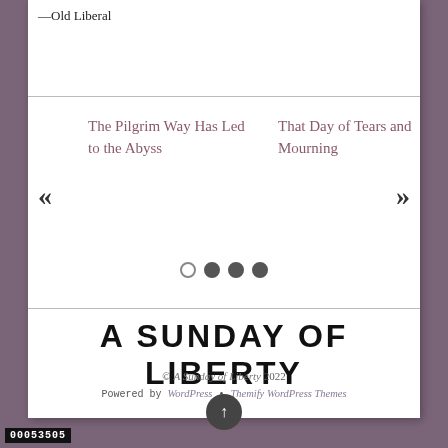—Old Liberal
The Pilgrim Way Has Led to the Abyss
That Day of Tears and Mourning
A SUNDAY OF LIBERTY
© A Sunday of Liberty 2022
Powered by WordPress • Themify WordPress Themes
00053505